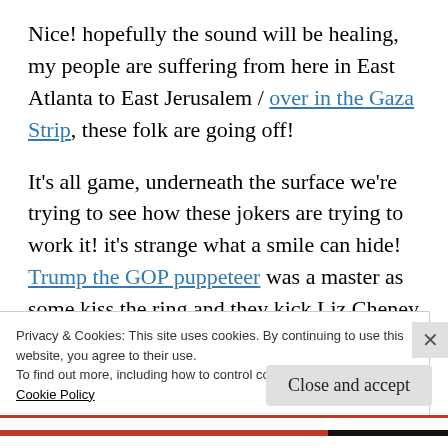Nice! hopefully the sound will be healing, my people are suffering from here in East Atlanta to East Jerusalem / over in the Gaza Strip, these folk are going off!
It's all game, underneath the surface we're trying to see how these jokers are trying to work it! it's strange what a smile can hide! Trump the GOP puppeteer was a master as some kiss the ring and they kick Liz Cheney out of the...
Privacy & Cookies: This site uses cookies. By continuing to use this website, you agree to their use.
To find out more, including how to control cookies, see here: Cookie Policy